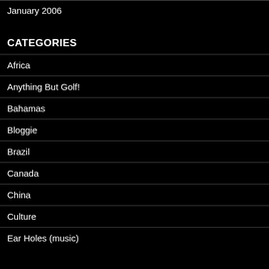January 2006
CATEGORIES
Africa
Anything But Golf!
Bahamas
Bloggie
Brazil
Canada
China
Culture
Ear Holes (music)